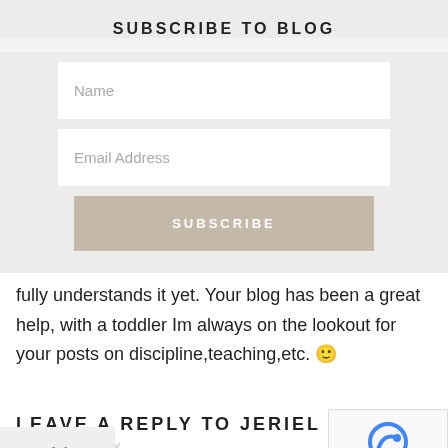SUBSCRIBE TO BLOG
[Figure (screenshot): Subscribe form with Name input, Email Address input, and SUBSCRIBE button]
fully understands it yet. Your blog has been a great help, with a toddler Im always on the lookout for your posts on discipline,teaching,etc. 🙂
LEAVE A REPLY TO JERIEL
CANCEL REPLY
Your email address will not be published. Required